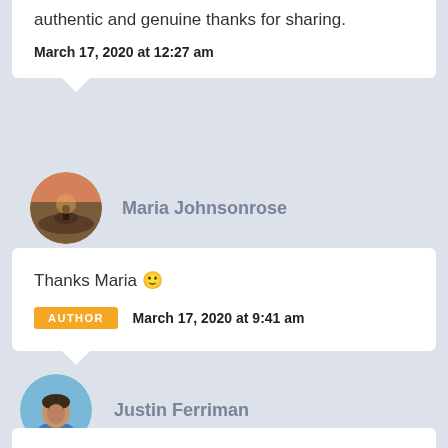authentic and genuine thanks for sharing.
March 17, 2020 at 12:27 am
[Figure (illustration): Circular avatar of Maria Johnsonrose showing a silhouette figure on rocks at sunset]
Maria Johnsonrose
Thanks Maria 🙂
AUTHOR   March 17, 2020 at 9:41 am
[Figure (photo): Circular avatar photo of Justin Ferriman, a man in a blue shirt]
Justin Ferriman